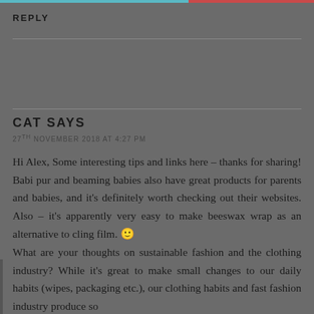REPLY
CAT SAYS
27TH NOVEMBER 2018 AT 4:27 PM
Hi Alex, Some interesting tips and links here – thanks for sharing! Babi pur and beaming babies also have great products for parents and babies, and it's definitely worth checking out their websites. Also – it's apparently very easy to make beeswax wrap as an alternative to cling film. 🙂 What are your thoughts on sustainable fashion and the clothing industry? While it's great to make small changes to our daily habits (wipes, packaging etc.), our clothing habits and fast fashion industry produce so